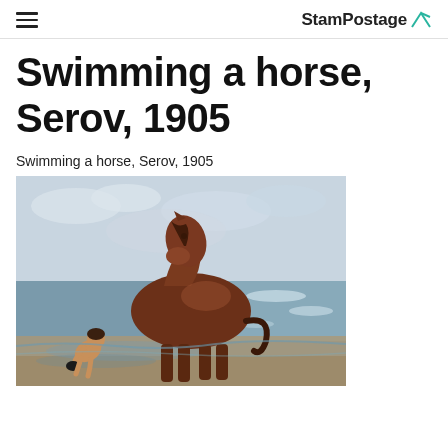StamPostage
Swimming a horse, Serov, 1905
Swimming a horse, Serov, 1905
[Figure (illustration): Oil painting 'Swimming a Horse' by Serov, 1905. A brown horse stands at the shoreline of a calm sea with a nude figure crouching beside it near the water's edge. The sky is light grey-blue with clouds.]